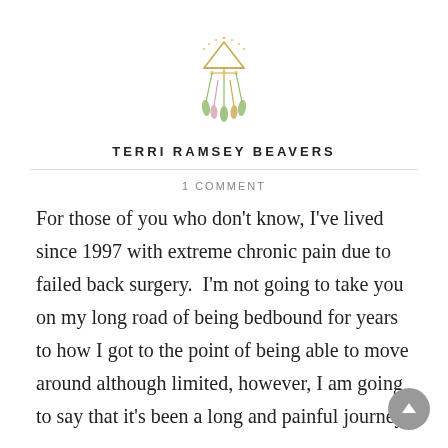[Figure (logo): Decorative dreamcatcher logo illustration with feathers, beads, and a triangle tent/arrow shape in muted greens, golds, and pinks]
TERRI RAMSEY BEAVERS
1 COMMENT
For those of you who don't know, I've lived since 1997 with extreme chronic pain due to failed back surgery.  I'm not going to take you on my long road of being bedbound for years to how I got to the point of being able to move around although limited, however, I am going to say that it's been a long and painful journey.